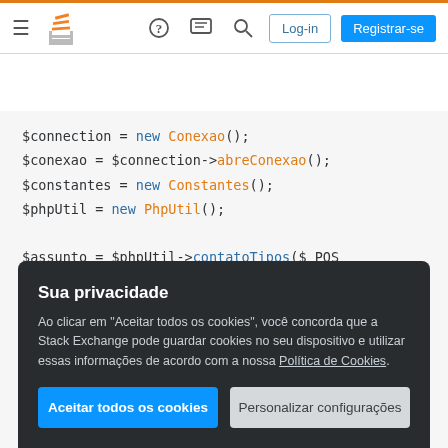Stack Exchange navigation bar with hamburger menu, logo, help, chat, search, Log-in, and Registrar-se buttons
[Figure (screenshot): PHP code snippet showing variable assignments: $connection = new Conexao(); $conexao = $connection->abreConexao(); $constantes = new Constantes(); $phpUtil = new PhpUtil(); $assunto = $phpUtil->contatoTipos($_POS $emailsDao = new EmailsDao($conexao); $email = new Emails( date("Y-m-d"), "n", $_POST["nome"], $_POST["email"], preg_replace( '#[^0-9]]
Sua privacidade
Ao clicar em "Aceitar todos os cookies", você concorda que a Stack Exchange pode guardar cookies no seu dispositivo e utilizar essas informações de acordo com a nossa Política de Cookies.
Aceitar todos os cookies
Personalizar configurações